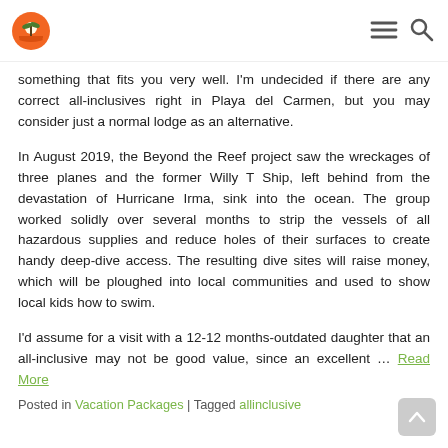[Logo] [Hamburger menu] [Search icon]
something that fits you very well. I'm undecided if there are any correct all-inclusives right in Playa del Carmen, but you may consider just a normal lodge as an alternative.
In August 2019, the Beyond the Reef project saw the wreckages of three planes and the former Willy T Ship, left behind from the devastation of Hurricane Irma, sink into the ocean. The group worked solidly over several months to strip the vessels of all hazardous supplies and reduce holes of their surfaces to create handy deep-dive access. The resulting dive sites will raise money, which will be ploughed into local communities and used to show local kids how to swim.
I'd assume for a visit with a 12-12 months-outdated daughter that an all-inclusive may not be good value, since an excellent … Read More
Posted in Vacation Packages | Tagged allinclusive